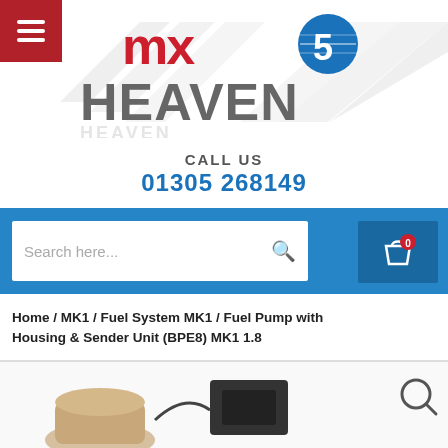[Figure (logo): MX5 Heaven logo with stylized racing stripe background and globe icon]
CALL US
01305 268149
[Figure (screenshot): Blue navigation bar with search box and shopping cart button showing 0 items]
Home / MK1 / Fuel System MK1 / Fuel Pump with Housing & Sender Unit (BPE8) MK1 1.8
[Figure (photo): Fuel Pump with Housing & Sender Unit (BPE8) MK1 1.8 product photo]